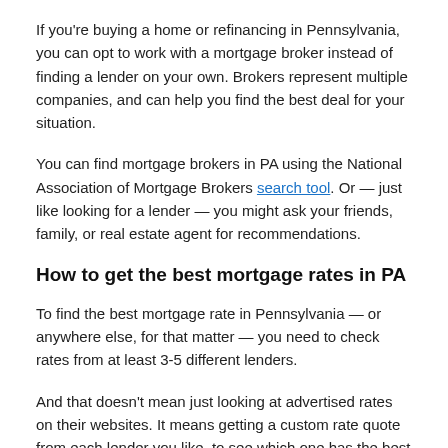If you're buying a home or refinancing in Pennsylvania, you can opt to work with a mortgage broker instead of finding a lender on your own. Brokers represent multiple companies, and can help you find the best deal for your situation.
You can find mortgage brokers in PA using the National Association of Mortgage Brokers search tool. Or — just like looking for a lender — you might ask your friends, family, or real estate agent for recommendations.
How to get the best mortgage rates in PA
To find the best mortgage rate in Pennsylvania — or anywhere else, for that matter — you need to check rates from at least 3-5 different lenders.
And that doesn't mean just looking at advertised rates on their websites. It means getting a custom rate quote from each lender you like, to see which one has the best prices